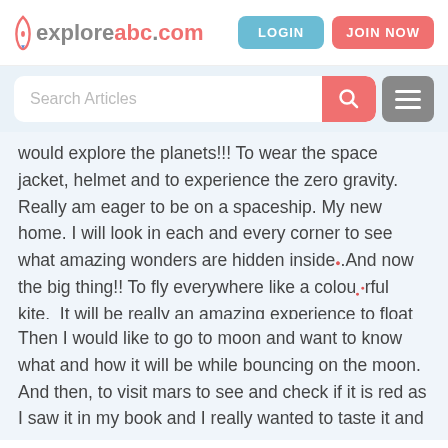exploreabc.com | LOGIN | JOIN NOW
[Figure (screenshot): Search bar with pink search button and grey hamburger menu button]
would explore the planets!!! To wear the space jacket, helmet and to experience the zero gravity. Really am eager to be on a spaceship. My new home. I will look in each and every corner to see what amazing wonders are hidden inside. And now the big thing!! To fly everywhere like a colourful kite. It will be really an amazing experience to float in the air, to catch the water, food items and so on. No need to eat with hands! Friends just open your mouth. Gulp!!! How is that????
Then I would like to go to moon and want to know what and how it will be while bouncing on the moon. And then, to visit mars to see and check if it is red as I saw it in my book and I really wanted to taste it and